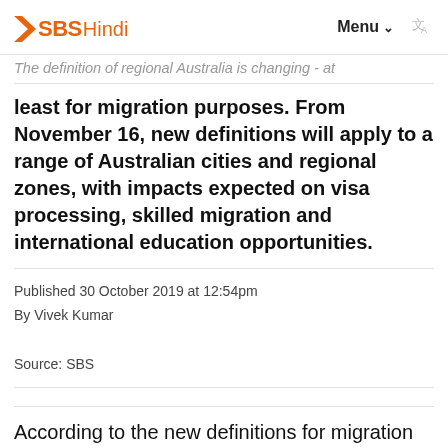SBS Hindi   Menu   [translate icon]
The definition of regional Australia is changing - at least for migration purposes. From November 16, new definitions will apply to a range of Australian cities and regional zones, with impacts expected on visa processing, skilled migration and international education opportunities.
Published 30 October 2019 at 12:54pm
By Vivek Kumar
Source: SBS
According to the new definitions for migration purposes, Perth and the Gold Coast will no longer be